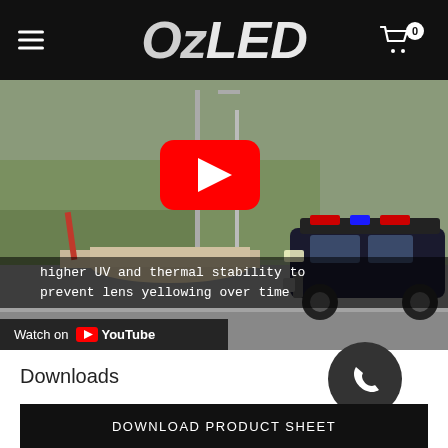OzLED
[Figure (screenshot): YouTube video thumbnail showing a police car on a road with a YouTube play button overlay. Subtitle text reads: 'higher UV and thermal stability to prevent lens yellowing over time'. Bottom left shows 'Watch on YouTube' badge.]
Downloads
DOWNLOAD PRODUCT SHEET